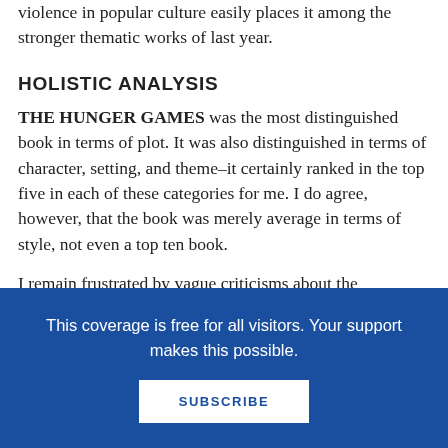violence in popular culture easily places it among the stronger thematic works of last year.
HOLISTIC ANALYSIS
THE HUNGER GAMES was the most distinguished book in terms of plot.  It was also distinguished in terms of character, setting, and theme–it certainly ranked in the top five in each of these categories for me.  I do agree, however, that the book was merely average in terms of style, not even a top ten book.
I remain frustrated by vague criticisms about the
This coverage is free for all visitors. Your support makes this possible.
SUBSCRIBE